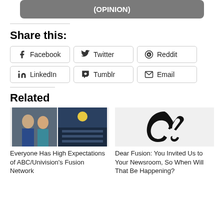[Figure (screenshot): Gray rounded rectangle button with text '(OPINION)' in white bold text]
Share this:
[Figure (infographic): Row of social share buttons: Facebook, Twitter, Reddit, LinkedIn, Tumblr, Email]
Related
[Figure (photo): Two women posing together on left, basketball arena crowd on right]
Everyone Has High Expectations of ABC/Univision's Fusion Network
[Figure (logo): Fusion network logo - black stylized F letter]
Dear Fusion: You Invited Us to Your Newsroom, So When Will That Be Happening?